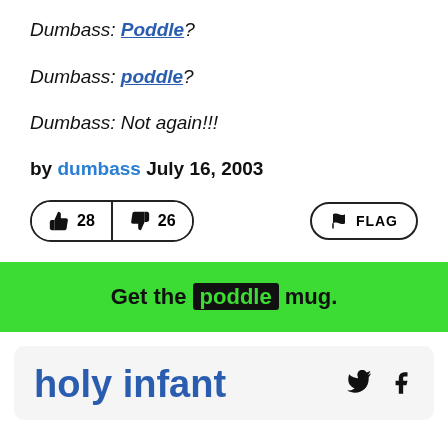Dumbass: Poddle?
Dumbass: poddle?
Dumbass: Not again!!!
by dumbass July 16, 2003
[Figure (other): Vote buttons showing thumbs up 28 and thumbs down 26, plus a FLAG button]
Get the poddle mug.
holy infant